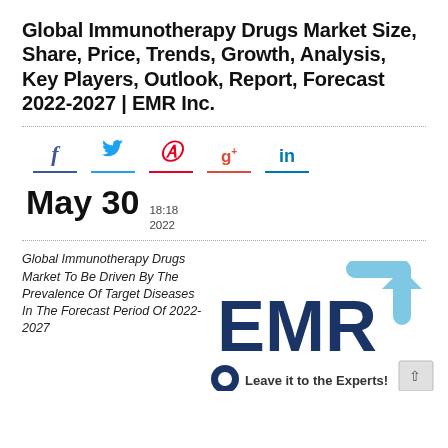Global Immunotherapy Drugs Market Size, Share, Price, Trends, Growth, Analysis, Key Players, Outlook, Report, Forecast 2022-2027 | EMR Inc.
[Figure (infographic): Social media share icons: Facebook (f), Twitter (bird), Pinterest (p), Google+ (g+), LinkedIn (in), each with a colored underline bar]
May 30  18:18  2022
Global Immunotherapy Drugs Market To Be Driven By The Prevalence Of Target Diseases In The Forecast Period Of 2022-2027
[Figure (logo): EMR Inc. logo with arrow graphic and tagline 'Leave it to the Experts!']